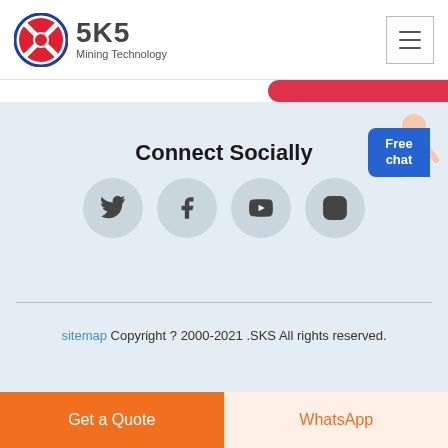[Figure (logo): SKS Mining Technology logo with red/blue circular emblem and SKS text]
Connect Socially
[Figure (infographic): Four social media icons in light grey circles: Twitter, Facebook, YouTube, Instagram]
[Figure (illustration): Customer service representative figure with Free chat button]
sitemap Copyright ? 2000-2021 .SKS All rights reserved.
Get a Quote
WhatsApp